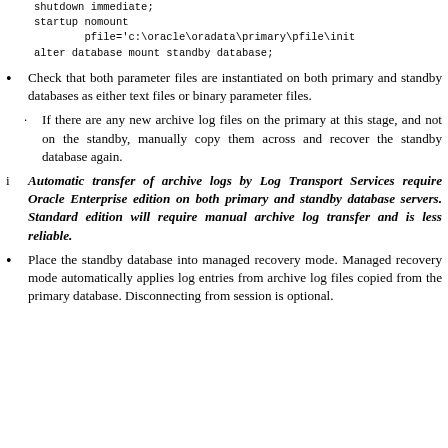shutdown immediate;
startup nomount
        pfile='c:\oracle\oradata\primary\pfile\init
alter database mount standby database;
Check that both parameter files are instantiated on both primary and standby databases as either text files or binary parameter files.
If there are any new archive log files on the primary at this stage, and not on the standby, manually copy them across and recover the standby database again.
Automatic transfer of archive logs by Log Transport Services require Oracle Enterprise edition on both primary and standby database servers. Standard edition will require manual archive log transfer and is less reliable.
Place the standby database into managed recovery mode. Managed recovery mode automatically applies log entries from archive log files copied from the primary database. Disconnecting from session is optional.